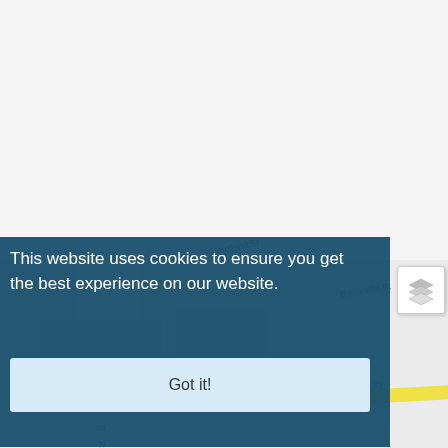[Figure (map): Street map background showing Holland St, E Franklin St, Quincy St, and surrounding area with location pin marker and yellow road.]
This website uses cookies to ensure you get the best experience on our website.
Got it!